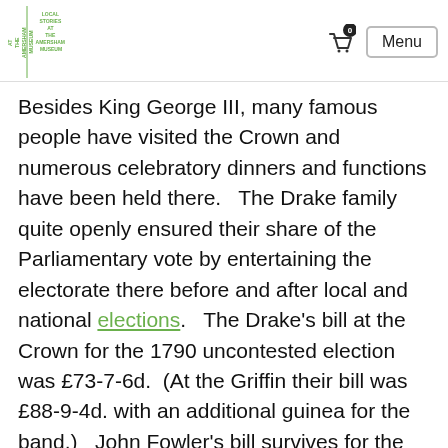LOCAL STORIES AT THE AMERSHAM MUSEUM | Menu
Besides King George III, many famous people have visited the Crown and numerous celebratory dinners and functions have been held there.   The Drake family quite openly ensured their share of the Parliamentary vote by entertaining the electorate there before and after local and national elections.   The Drake's bill at the Crown for the 1790 uncontested election was £73-7-6d.  (At the Griffin their bill was £88-9-4d. with an additional guinea for the band.)   John Fowler's bill survives for the 1796 election.  Thomas Tyrwhitt Drake's official expenses were £395-11-8d. of which £135-4-6d. was spent at the Crown:- (Dinners & Suppers £40; Punch    £8-10s.; Beer, Cyder & Tobacco £9-10s.; Tea & Coffee £2-3s.; Wine £72-10s.; Fruit